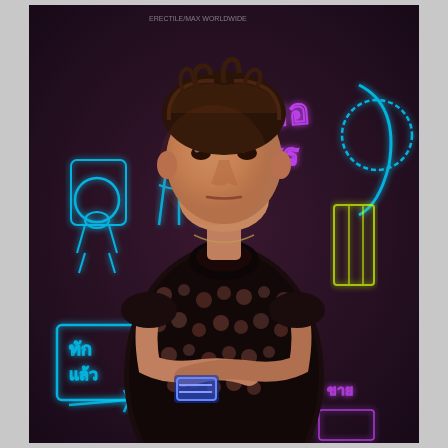[Figure (photo): A young Asian man with curly brown hair, wearing a black floral-patterned shirt, standing with arms crossed in front of a dark background covered with colorful neon signs featuring Thai script and graphic illustrations. The neon signs glow in blue, purple, teal, and yellow. He has a serious expression and is wearing a chain necklace.]